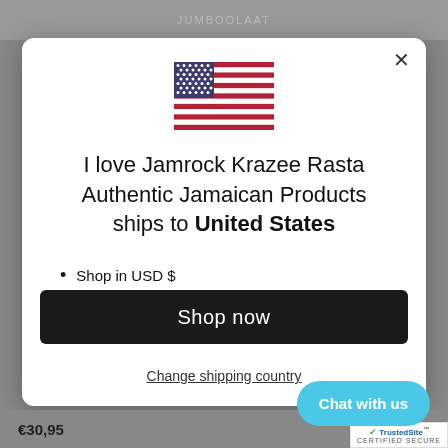[Figure (screenshot): A modal dialog on a website for I love Jamrock Krazee Rasta Authentic Jamaican Products showing shipping destination as United States with a US flag icon, list items, and a Shop now button.]
I love Jamrock Krazee Rasta Authentic Jamaican Products ships to United States
Shop in USD $
Get shipping options for United States
Shop now
Change shipping country
Chat with us
€30,95